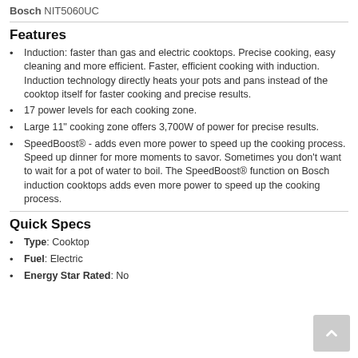Bosch NIT5060UC
Features
Induction: faster than gas and electric cooktops. Precise cooking, easy cleaning and more efficient. Faster, efficient cooking with induction. Induction technology directly heats your pots and pans instead of the cooktop itself for faster cooking and precise results.
17 power levels for each cooking zone.
Large 11" cooking zone offers 3,700W of power for precise results.
SpeedBoost® - adds even more power to speed up the cooking process. Speed up dinner for more moments to savor. Sometimes you don't want to wait for a pot of water to boil. The SpeedBoost® function on Bosch induction cooktops adds even more power to speed up the cooking process.
Quick Specs
Type: Cooktop
Fuel: Electric
Energy Star Rated: No